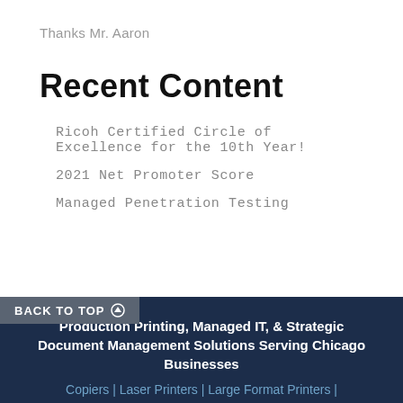Thanks Mr. Aaron
Recent Content
Ricoh Certified Circle of Excellence for the 10th Year!
2021 Net Promoter Score
Managed Penetration Testing
BACK TO TOP
Production Printing, Managed IT, & Strategic Document Management Solutions Serving Chicago Businesses
Copiers | Laser Printers | Large Format Printers |